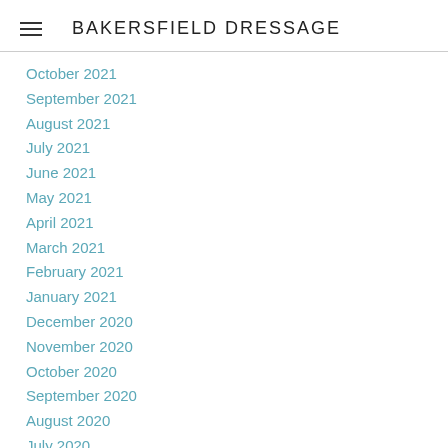BAKERSFIELD DRESSAGE
October 2021
September 2021
August 2021
July 2021
June 2021
May 2021
April 2021
March 2021
February 2021
January 2021
December 2020
November 2020
October 2020
September 2020
August 2020
July 2020
June 2020